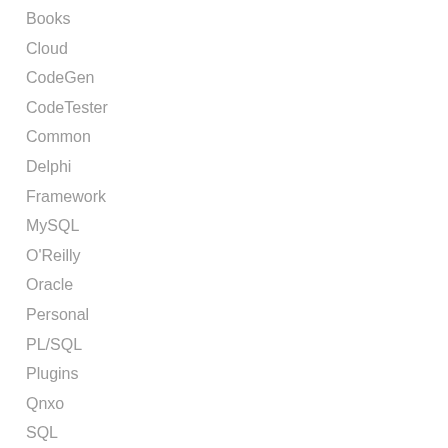Books
Cloud
CodeGen
CodeTester
Common
Delphi
Framework
MySQL
O'Reilly
Oracle
Personal
PL/SQL
Plugins
Qnxo
SQL
Tools
Uncategorized